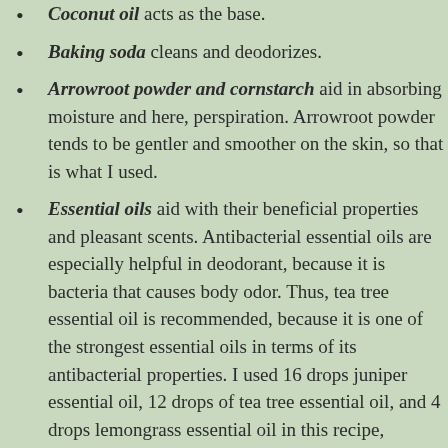Coconut oil acts as the base.
Baking soda cleans and deodorizes.
Arrowroot powder and cornstarch aid in absorbing moisture and here, perspiration. Arrowroot powder tends to be gentler and smoother on the skin, so that is what I used.
Essential oils aid with their beneficial properties and pleasant scents. Antibacterial essential oils are especially helpful in deodorant, because it is bacteria that causes body odor. Thus, tea tree essential oil is recommended, because it is one of the strongest essential oils in terms of its antibacterial properties. I used 16 drops juniper essential oil, 12 drops of tea tree essential oil, and 4 drops lemongrass essential oil in this recipe, because tea tree and lemongrass are both antibacterial essential oils. Lavender is another nice essential oil, that is also antibacterial. Choose essential oils according to their properties and your own preferences. To read more about essential oils and the aromatherapy course that I took, read my blog post